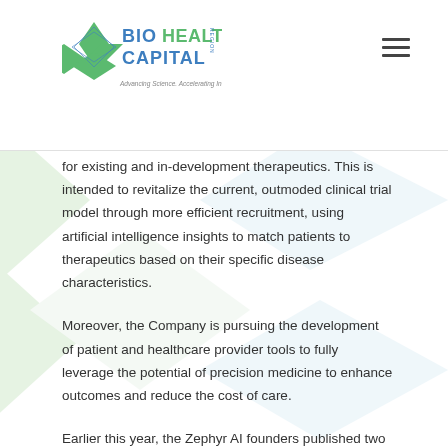BioHealth Capital Region — Advancing Science. Accelerating Innovation.
for existing and in-development therapeutics. This is intended to revitalize the current, outmoded clinical trial model through more efficient recruitment, using artificial intelligence insights to match patients to therapeutics based on their specific disease characteristics.
Moreover, the Company is pursuing the development of patient and healthcare provider tools to fully leverage the potential of precision medicine to enhance outcomes and reduce the cost of care.
Earlier this year, the Zephyr AI founders published two peer-reviewed articles about the company’s technology in the medical journal Oncogene. “These findings demonstrate that Zephyr AI can already identify novel-use cases for existing therapeutics in cancer,” said CTO